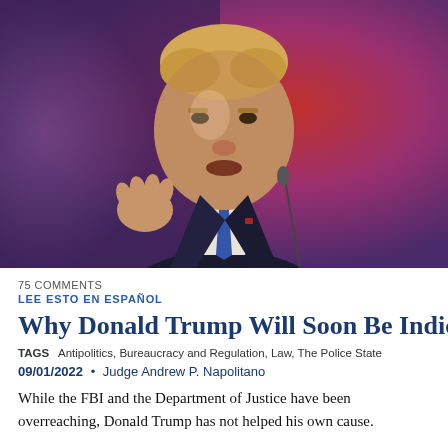[Figure (photo): Photo of Donald Trump in a dark suit and blue tie, gesturing with his right hand, speaking at a podium with a microphone, against a red and purple blurred background]
75 COMMENTS
LEE ESTO EN ESPAÑOL
Why Donald Trump Will Soon Be Indicted
TAGS   Antipolitics, Bureaucracy and Regulation, Law, The Police State
09/01/2022  •  Judge Andrew P. Napolitano
While the FBI and the Department of Justice have been overreaching, Donald Trump has not helped his own cause.